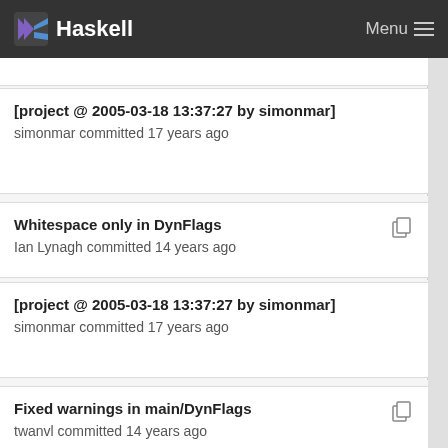Haskell  Menu
[project @ 2005-03-18 13:37:27 by simonmar]
simonmar committed 17 years ago
Whitespace only in DynFlags
Ian Lynagh committed 14 years ago
[project @ 2005-03-18 13:37:27 by simonmar]
simonmar committed 17 years ago
Fixed warnings in main/DynFlags
twanvl committed 14 years ago
[project @ 2005-03-18 13:37:27 by simonmar]
simonmar committed 17 years ago